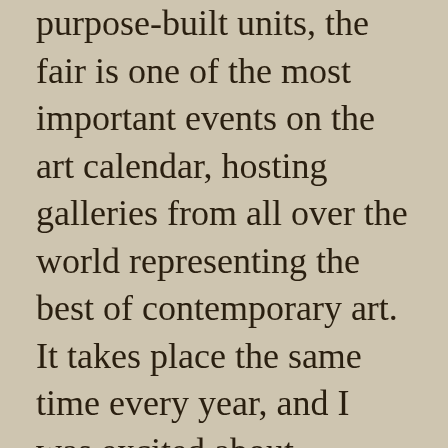purpose-built units, the fair is one of the most important events on the art calendar, hosting galleries from all over the world representing the best of contemporary art. It takes place the same time every year, and I was excited about introducing Chris to an art world that was so integral to my life. Chris loved the experience – the buzz, the